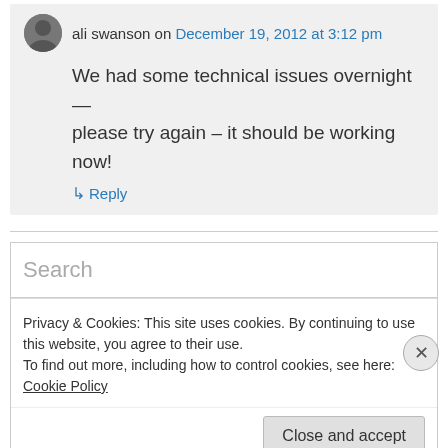ali swanson on December 19, 2012 at 3:12 pm
We had some technical issues overnight — please try again – it should be working now!
↳ Reply
Search
Privacy & Cookies: This site uses cookies. By continuing to use this website, you agree to their use.
To find out more, including how to control cookies, see here: Cookie Policy
Close and accept